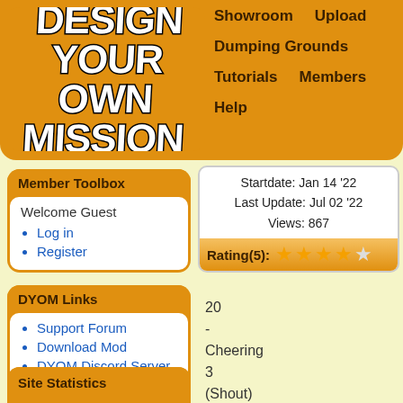[Figure (logo): Design Your Own Mission logo — stylized graffiti text on orange background]
Showroom   Upload   Dumping Grounds   Tutorials   Members   Help
Startdate: Jan 14 '22
Last Update: Jul 02 '22
Views: 867
Rating(5): ★★★★☆
Member Toolbox
Welcome Guest
Log in
Register
DYOM Links
Support Forum
Download Mod
DYOM Discord Server
CLEO Library
YouTube Channel
Facebook Profile
Site Statistics
20
-
Cheering
3
(Shout)
21
-
Slap
in
the
ass
22
-